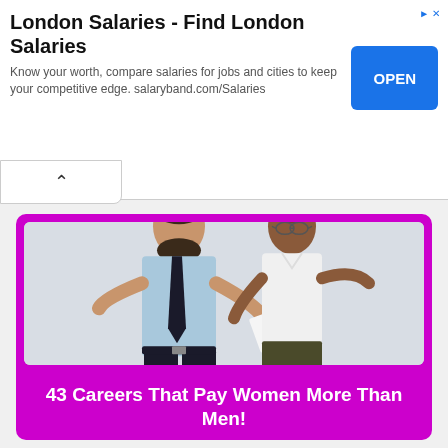London Salaries - Find London Salaries
Know your worth, compare salaries for jobs and cities to keep your competitive edge. salaryband.com/Salaries
[Figure (photo): A man in a blue shirt and dark tie pointing at a woman in a white blouse, both smiling against a grey background]
43 Careers That Pay Women More Than Men!